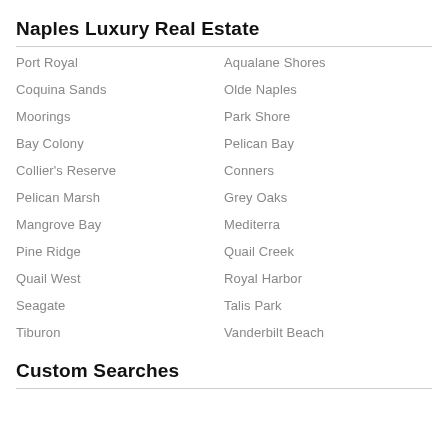Naples Luxury Real Estate
Port Royal
Aqualane Shores
Coquina Sands
Olde Naples
Moorings
Park Shore
Bay Colony
Pelican Bay
Collier's Reserve
Conners
Pelican Marsh
Grey Oaks
Mangrove Bay
Mediterra
Pine Ridge
Quail Creek
Quail West
Royal Harbor
Seagate
Talis Park
Tiburon
Vanderbilt Beach
Custom Searches